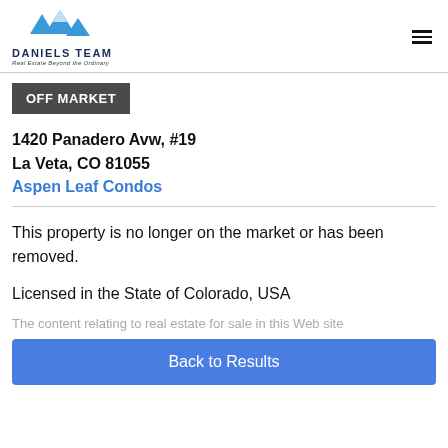[Figure (logo): Daniels Team real estate logo with mountain peaks in blue and dark navy text]
OFF MARKET
1420 Panadero Avw, #19
La Veta, CO 81055
Aspen Leaf Condos
This property is no longer on the market or has been removed.
Licensed in the State of Colorado, USA
The content relating to real estate for sale in this Web site
Back to Results